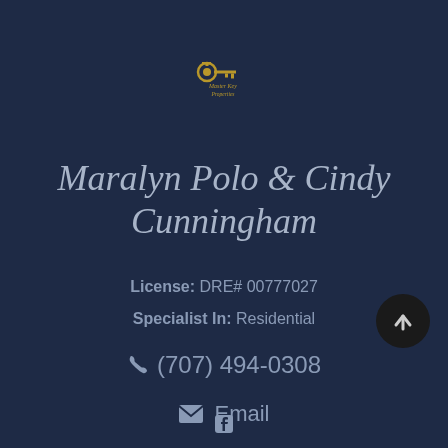[Figure (logo): Golden key logo with text 'Master Key Properties' in cursive script]
Maralyn Polo & Cindy Cunningham
License: DRE# 00777027
Specialist In: Residential
(707) 494-0308
Email